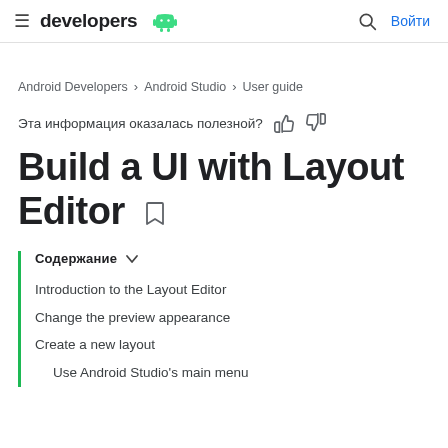developers [android logo] | [search icon] Войти
Android Developers > Android Studio > User guide
Эта информация оказалась полезной? [thumbs up] [thumbs down]
Build a UI with Layout Editor
Содержание
Introduction to the Layout Editor
Change the preview appearance
Create a new layout
Use Android Studio's main menu